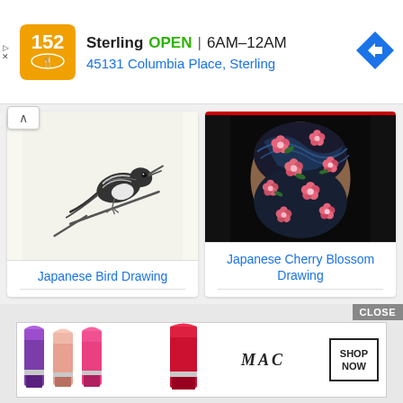[Figure (infographic): Advertisement banner: orange logo with fork/spoon icon, store name 'Sterling', OPEN status, hours '6AM-12AM', address '45131 Columbia Place, Sterling', blue navigation arrow icon]
Sterling   OPEN | 6AM–12AM
45131 Columbia Place, Sterling
[Figure (illustration): Japanese ink brush painting of a bird on a branch, black and white]
Japanese Bird Drawing
[Figure (photo): Japanese cherry blossom tattoo on a person's arm/shoulder, dark background with pink flowers]
Japanese Cherry Blossom Drawing
[Figure (infographic): MAC cosmetics advertisement with lipsticks in purple, pink, and red colors, MAC logo, and SHOP NOW button]